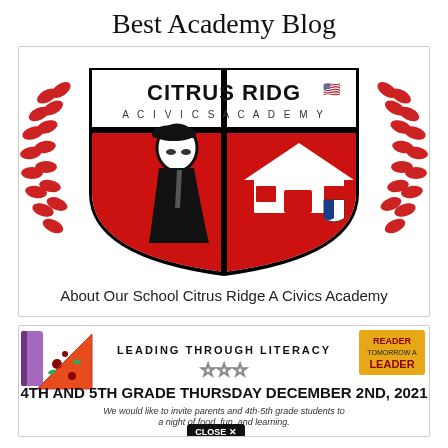Best Academy Blog
[Figure (logo): Citrus Ridge: A Civics Academy school logo/shield with student mascot and house icon, surrounded by red laurel wreaths on left and right]
About Our School Citrus Ridge A Civics Academy
[Figure (infographic): Leading Through Literacy event flyer for 4th and 5th Grade Thursday December 2nd, 2021 with pizza, star icons, book image, and text inviting parents and students to a night of food, fun, and learning. CLOSE X button visible.]